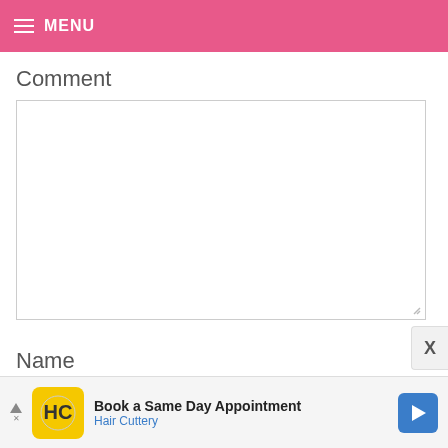MENU
Comment
[Figure (screenshot): Empty comment textarea input box]
Name
[Figure (screenshot): Empty name text input field]
[Figure (screenshot): Advertisement banner: Book a Same Day Appointment - Hair Cuttery]